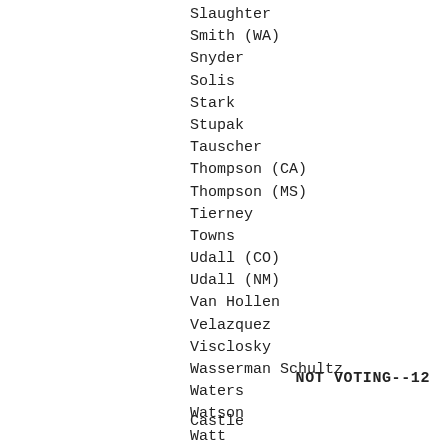Slaughter
Smith (WA)
Snyder
Solis
Stark
Stupak
Tauscher
Thompson (CA)
Thompson (MS)
Tierney
Towns
Udall (CO)
Udall (NM)
Van Hollen
Velazquez
Visclosky
Wasserman Schultz
Waters
Watson
Watt
Waxman
Weiner
Wexler
Woolsey
Wu
Wynn
NOT VOTING--12
Castle